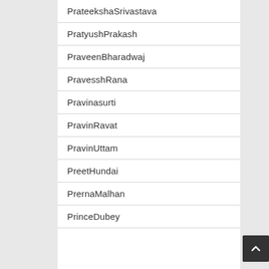PrateekshaSrivastava
PratyushPrakash
PraveenBharadwaj
PravesshRana
Pravinasurti
PravinRavat
PravinUttam
PreetHundai
PrernaMalhan
PrinceDubey